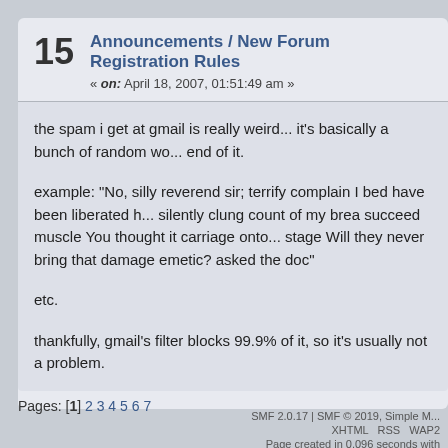15 Announcements / New Forum Registration Rules « on: April 18, 2007, 01:51:49 am »
the spam i get at gmail is really weird... it's basically a bunch of random wo... end of it.

example: "No, silly reverend sir; terrify complain I bed have been liberated h... silently clung count of my brea succeed muscle You thought it carriage onto... stage Will they never bring that damage emetic? asked the doc"

etc.

thankfully, gmail's filter blocks 99.9% of it, so it's usually not a problem.
Pages: [1] 2 3 4 5 6 7
SMF 2.0.17 | SMF © 2019, Simple M...
XHTML   RSS   WAP2
Page created in 0.096 seconds with